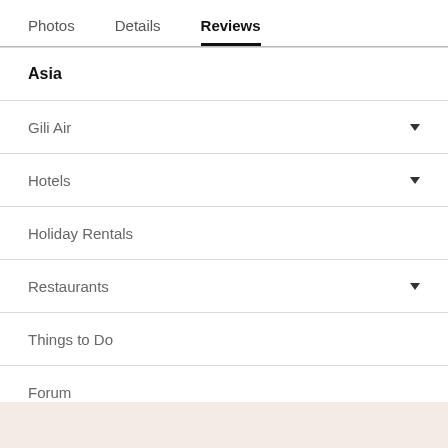Photos   Details   Reviews
Asia
Gili Air
Hotels
Holiday Rentals
Restaurants
Things to Do
Forum
More